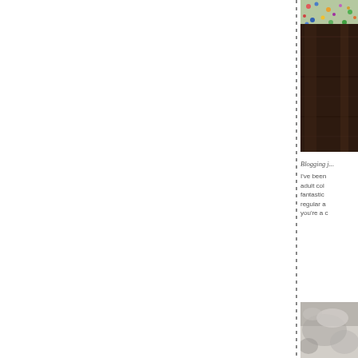[Figure (photo): Partial view of a photo showing colorful items at the top and dark wood-toned surface below, cropped at right edge of page]
Blogging j...
I've been... adult col... fantastic... regular a... you're a c...
[Figure (photo): Partial view of a black and white or muted photo at the bottom right, cropped at right edge of page]